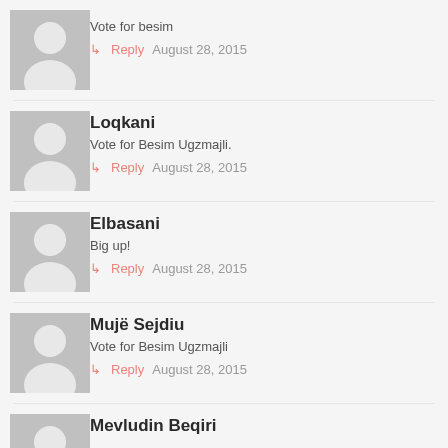Vote for besim
Reply  August 28, 2015
Loqkani
Vote for Besim Ugzmajli.
Reply  August 28, 2015
Elbasani
Big up!
Reply  August 28, 2015
Mujë Sejdiu
Vote for Besim Ugzmajli
Reply  August 28, 2015
Mevludin Beqiri